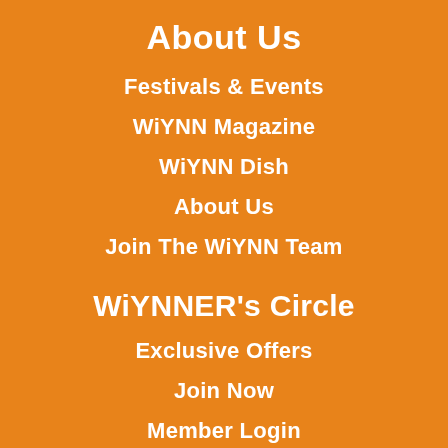About Us
Festivals & Events
WiYNN Magazine
WiYNN Dish
About Us
Join The WiYNN Team
WiYNNER's Circle
Exclusive Offers
Join Now
Member Login